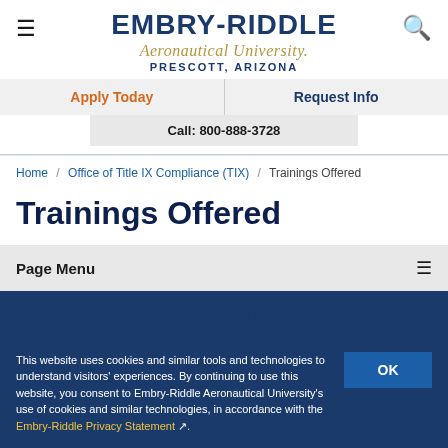[Figure (logo): Embry-Riddle Aeronautical University Prescott, Arizona logo with hamburger menu and search icon]
Apply Today
Request Info
Call: 800-888-3728
Home / Office of Title IX Compliance (TIX) / Trainings Offered
Trainings Offered
Page Menu
This website uses cookies and similar tools and technologies to understand visitors' experiences. By continuing to use this website, you consent to Embry-Riddle Aeronautical University's use of cookies and similar technologies, in accordance with the Embry-Riddle Privacy Statement.
Annual Sexual Harassment Training for Students
All Daytona Beach and Prescott students are required to complete